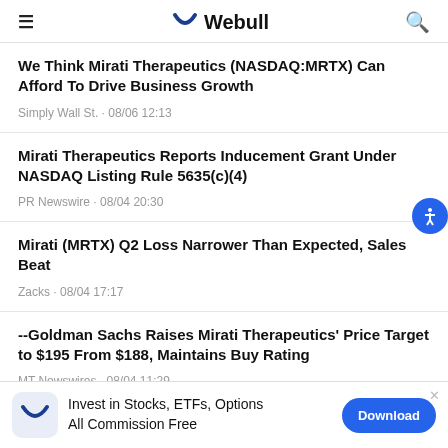Webull
We Think Mirati Therapeutics (NASDAQ:MRTX) Can Afford To Drive Business Growth
Simply Wall St. · 08/06 12:13
Mirati Therapeutics Reports Inducement Grant Under NASDAQ Listing Rule 5635(c)(4)
PR Newswire · 08/04 20:30
Mirati (MRTX) Q2 Loss Narrower Than Expected, Sales Beat
Zacks · 08/04 17:17
--Goldman Sachs Raises Mirati Therapeutics' Price Target to $195 From $188, Maintains Buy Rating
MT Newswires · 08/04 11:29
Invest in Stocks, ETFs, Options All Commission Free